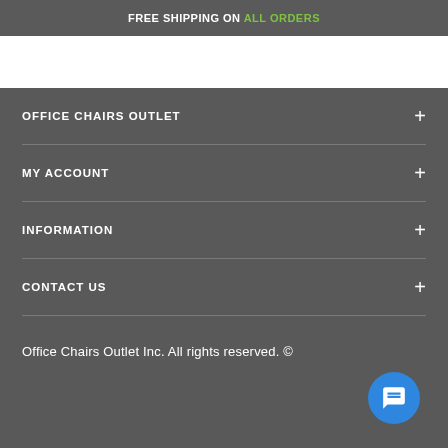FREE SHIPPING ON ALL ORDERS
OFFICE CHAIRS OUTLET
MY ACCOUNT
INFORMATION
CONTACT US
Office Chairs Outlet Inc. All rights reserved. ©